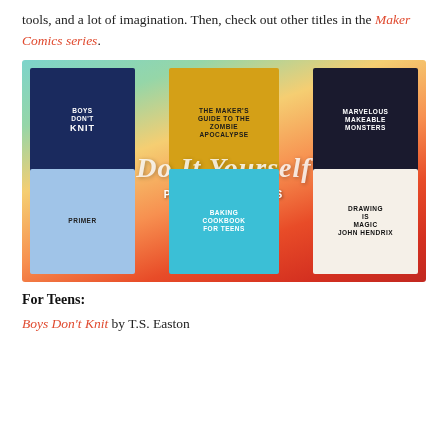tools, and a lot of imagination. Then, check out other titles in the Maker Comics series.
[Figure (illustration): A collage image featuring 6 book covers arranged around a 'Do It Yourself Picks for Teens' central text overlay on a colorful blurred background. Books shown: Boys Don't Knit, The Maker's Guide to the Zombie Apocalypse, Marvelous Makeable Monsters, Primer, Baking Cookbook for Teens, Drawing is Magic by John Hendrix.]
For Teens:
Boys Don't Knit by T.S. Easton